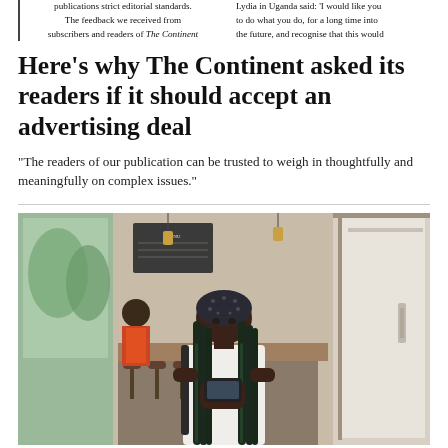publications strict editorial standards. The feedback we received from subscribers and readers of The Continent
Lydia in Uganda said: 'I would like you to do what you do, for a long time into the future, and recognise that this would
Here’s why The Continent asked its readers if it should accept an advertising deal
“The readers of our publication can be trusted to weigh in thoughtfully and meaningfully on complex issues.”
[Figure (photo): A young woman wearing a black patterned bandana and white top with green braided hair, looking down at her phone, standing in a cafe setting]